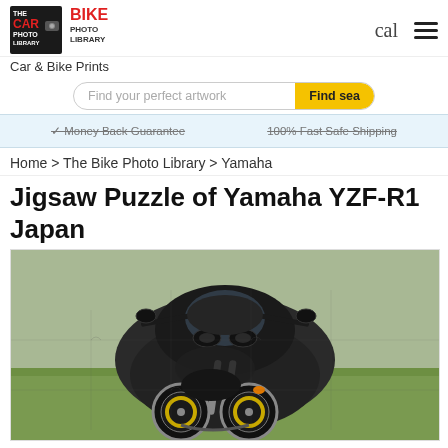Car Photo Library | Bike Photo Library | cal | (menu)
Car & Bike Prints
Find your perfect artwork | Find Search
✓ Money Back Guarantee   100% Fast Safe Shipping
Home > The Bike Photo Library > Yamaha
Jigsaw Puzzle of Yamaha YZF-R1 Japan
[Figure (photo): Photo of a dark/black Yamaha YZF-R1 motorcycle parked outdoors in front of a stone or hedge wall with green grass visible. The motorcycle faces the viewer at a slight angle showing the front fairing, headlights, handlebars and front wheel.]